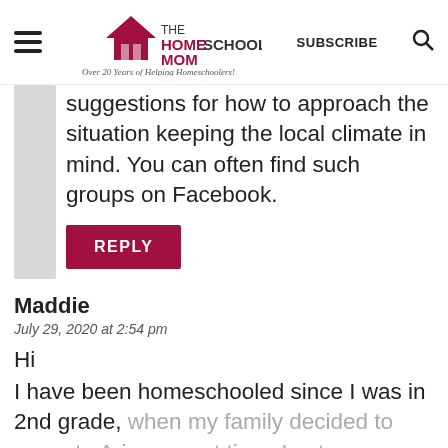[Figure (logo): The Homeschool Mom website logo with house/roof icon and tagline 'Over 20 Years of Helping Homeschoolers!']
suggestions for how to approach the situation keeping the local climate in mind. You can often find such groups on Facebook.
REPLY
Maddie
July 29, 2020 at 2:54 pm
Hi
I have been homeschooled since I was in 2nd grade, when my family decided to move to Arizona part time. Last year ,